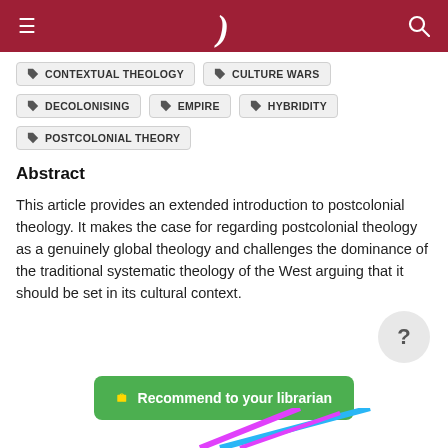≡  )  🔍
CONTEXTUAL THEOLOGY
CULTURE WARS
DECOLONISING
EMPIRE
HYBRIDITY
POSTCOLONIAL THEORY
Abstract
This article provides an extended introduction to postcolonial theology. It makes the case for regarding postcolonial theology as a genuinely global theology and challenges the dominance of the traditional systematic theology of the West arguing that it should be set in its cultural context.